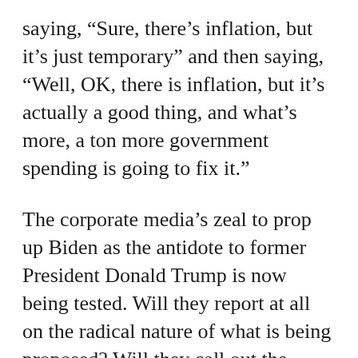saying, “Sure, there’s inflation, but it’s just temporary” and then saying, “Well, OK, there is inflation, but it’s actually a good thing, and what’s more, a ton more government spending is going to fix it.”
The corporate media’s zeal to prop up Biden as the antidote to former President Donald Trump is now being tested. Will they report at all on the radical nature of what is being proposed? Will they call out the administration’s contradictions and inconsistencies? They have begun to break the dam just a little bit. They should all remember that in the end, there is no amount of bias or even